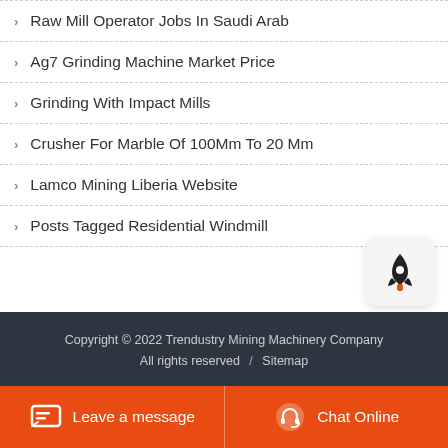Raw Mill Operator Jobs In Saudi Arab
Ag7 Grinding Machine Market Price
Grinding With Impact Mills
Crusher For Marble Of 100Mm To 20 Mm
Lamco Mining Liberia Website
Posts Tagged Residential Windmill
Copyright © 2022 Trendustry Mining Machinery Company All rights reserved / Sitemap
Leave a message
Chat Online